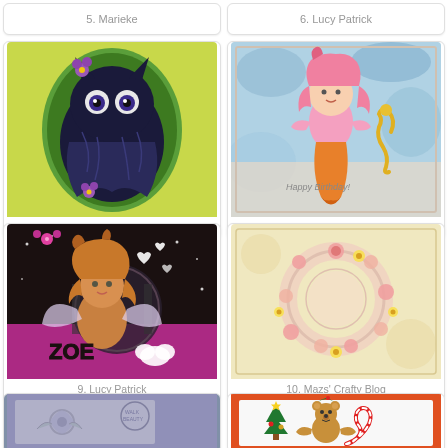5. Marieke
6. Lucy Patrick
[Figure (photo): Dark owl/cat illustration on yellow-green oval background with purple flowers]
7. ionabunny
[Figure (photo): Pink mermaid girl with seahorse on blue watercolor background, 'Happy Birthday' text]
8. Lucy Patrick
[Figure (photo): Fantasy fairy girl with curly golden hair, ZOE text, dark sparkly background with hearts]
9. Lucy Patrick
[Figure (photo): Circular wreath card with pink roses and yellow daisy flowers on cream background]
10. Mazs' Crafty Blog
[Figure (photo): Purple/grey card with floral emboss design and postmark stamp]
[Figure (photo): Christmas card with teddy bear, candy cane, Christmas tree on orange border]